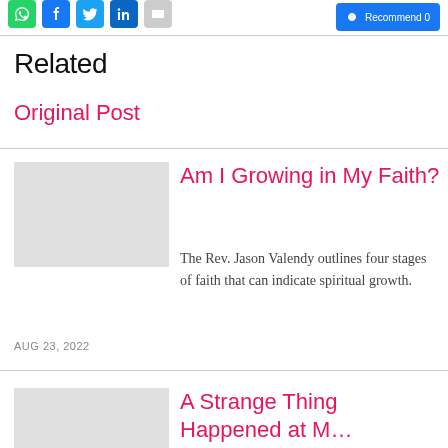[Figure (other): Social media sharing icons: WhatsApp (green), Facebook (blue), Twitter (blue), LinkedIn (blue), Email (grey), and a Facebook Recommend button on the right]
Related
Original Post
Am I Growing in My Faith?
The Rev. Jason Valendy outlines four stages of faith that can indicate spiritual growth.
AUG 23, 2022
A Strange Thing Happened at M...